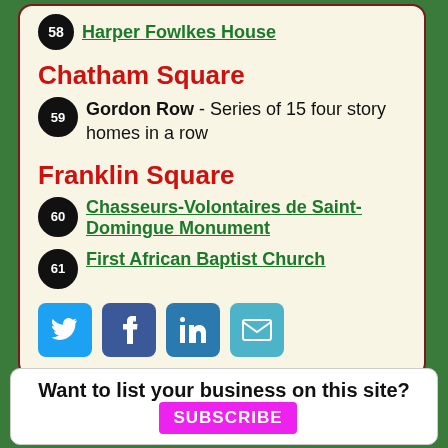58 Harper Fowlkes House
Chatham Square
59 Gordon Row - Series of 15 four story homes in a row
Franklin Square
60 Chasseurs-Volontaires de Saint-Domingue Monument
61 First African Baptist Church
[Figure (infographic): Social sharing buttons: Twitter, Facebook, LinkedIn, Email]
Want to list your business on this site? SUBSCRIBE